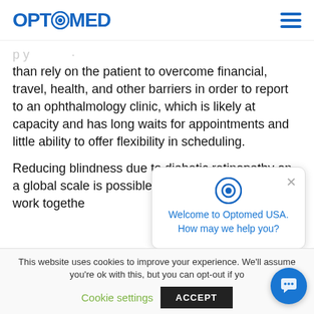OPTOMED
than rely on the patient to overcome financial, travel, health, and other barriers in order to report to an ophthalmology clinic, which is likely at capacity and has long waits for appointments and little ability to offer flexibility in scheduling.
Reducing blindness due to diabetic retinopathy on a global scale is possible if providers work together compliance.
[Figure (screenshot): Chat popup from Optomed USA website with eye logo icon, close X button, and message: Welcome to Optomed USA. How may we help you?]
This website uses cookies to improve your experience. We'll assume you're ok with this, but you can opt-out if yo
Cookie settings
ACCEPT